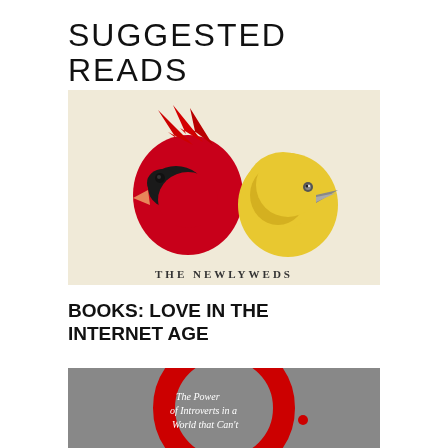SUGGESTED READS
[Figure (illustration): Book cover illustration showing two bird heads facing each other — a red cardinal on the left and a yellow bird on the right — on a cream/beige background, with partial text 'THE NEWLYWEDS' visible at the bottom]
BOOKS: LOVE IN THE INTERNET AGE
[Figure (photo): Book cover with gray textured background featuring a large red circle/letter O outline, with text inside reading 'The Power of Introverts in a World that Can't']